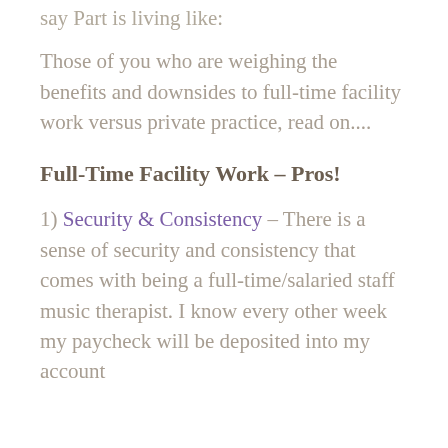say Part is living like:
Those of you who are weighing the benefits and downsides to full-time facility work versus private practice, read on....
Full-Time Facility Work – Pros!
1) Security & Consistency – There is a sense of security and consistency that comes with being a full-time/salaried staff music therapist. I know every other week my paycheck will be deposited into my account